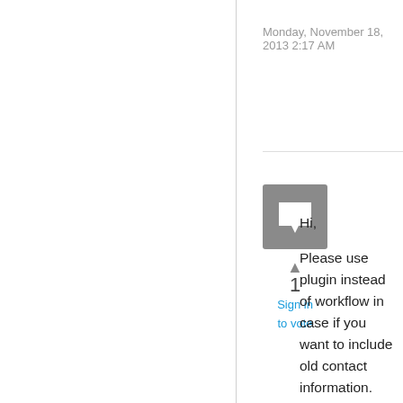Monday, November 18, 2013 2:17 AM
[Figure (illustration): Grey square avatar icon with a speech bubble symbol]
▲
1
Sign in
to vote
Hi,

Please use plugin instead of workflow in case if you want to include old contact information.

You can register pre-image on the entity and can include those data in the notification you are sending.

Thank You,